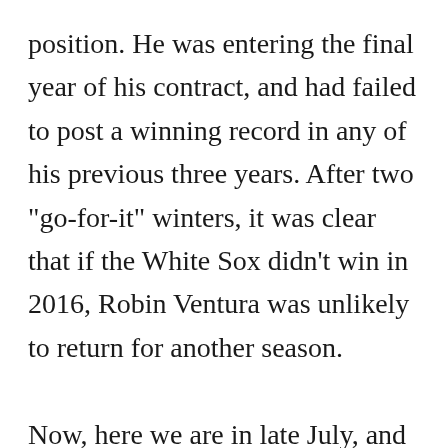position. He was entering the final year of his contract, and had failed to post a winning record in any of his previous three years. After two "go-for-it" winters, it was clear that if the White Sox didn't win in 2016, Robin Ventura was unlikely to return for another season.

Now, here we are in late July, and it sure doesn't look like the White Sox are destined for a winning season. As a